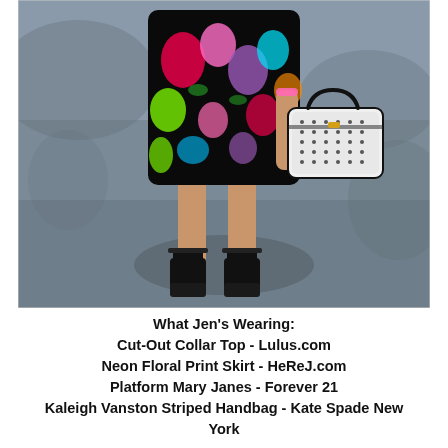[Figure (photo): A woman standing outdoors on a paved surface in dappled shade. She is wearing a black floral print top/skirt with bright neon flowers, black platform Mary Jane heels, a pink bracelet, and carrying a black-and-white Kate Spade striped handbag. Only her torso downward is visible.]
What Jen's Wearing:
Cut-Out Collar Top - Lulus.com
Neon Floral Print Skirt - HeReJ.com
Platform Mary Janes - Forever 21
Kaleigh Vanston Striped Handbag - Kate Spade New York